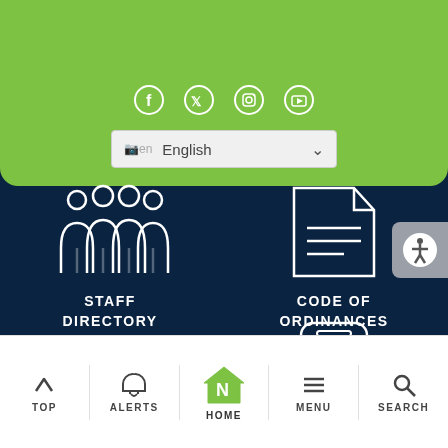[Figure (screenshot): Green top bar with social media icons (Facebook, Twitter, Instagram, YouTube) and a language selector dropdown showing 'en English']
[Figure (infographic): Dark navy background with four navigation tiles: Staff Directory (group of people icon), Code of Ordinances (document icon), a payment/card icon (partially visible), and a mobile alert icon. An accessibility button is visible on the right edge.]
[Figure (infographic): Bottom navigation bar with five items: TOP (up arrow), ALERTS (bell icon), HOME (house with N logo, highlighted), MENU (hamburger icon), SEARCH (magnifying glass icon)]